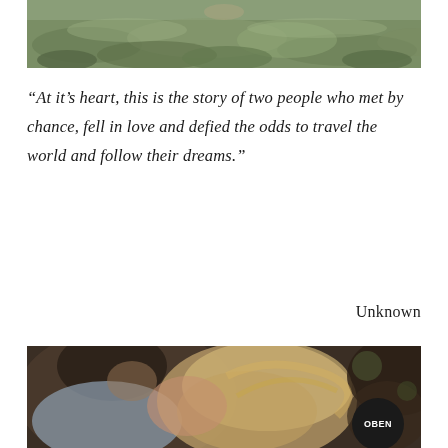[Figure (photo): Outdoor landscape photo showing a grassy hillside with muted green and earthy tones, partially cropped at top]
“At it’s heart, this is the story of two people who met by chance, fell in love and defied the odds to travel the world and follow their dreams.”
Unknown
[Figure (photo): Close-up photo of a couple, man with dark hair and stubble leaning toward a blonde woman whose hair falls over her face; bokeh background; OBEN logo badge in bottom right]